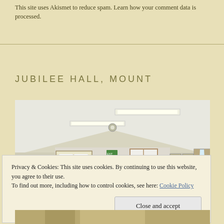This site uses Akismet to reduce spam. Learn how your comment data is processed.
JUBILEE HALL, MOUNT
[Figure (photo): Interior of Jubilee Hall, Mount — a community hall with white vaulted ceiling, fluorescent tube lights, notice boards, chairs, and windows with curtains.]
Privacy & Cookies: This site uses cookies. By continuing to use this website, you agree to their use.
To find out more, including how to control cookies, see here: Cookie Policy
Close and accept